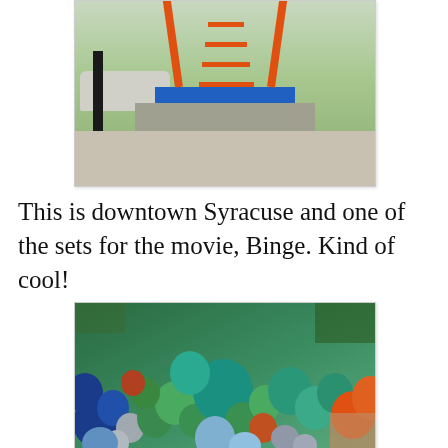[Figure (photo): Outdoor scene in downtown Syracuse showing an orange ladder on a blue platform/base, with a car visible on the left, green foliage in background, and a concrete structure.]
This is downtown Syracuse and one of the sets for the movie, Binge. Kind of cool!
[Figure (photo): Close-up of a balloon arch/garland with blue, green, teal, silver, orange, and dark blue balloons outdoors with trees visible in the background.]